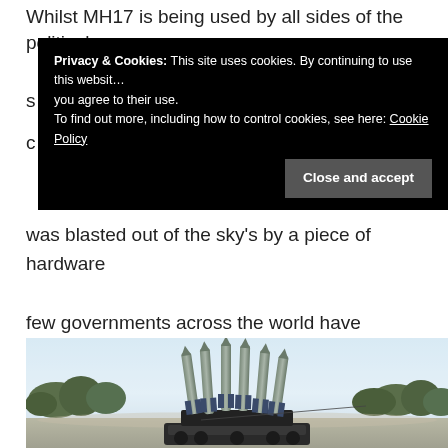Whilst MH17 is being used by all sides of the political
Privacy & Cookies: This site uses cookies. By continuing to use this website you agree to their use. To find out more, including how to control cookies, see here: Cookie Policy
was blasted out of the sky's by a piece of hardware few governments across the world have access to.
[Figure (photo): A missile launcher vehicle loaded with multiple surface-to-air missiles pointing upward, photographed outdoors with trees in the background.]